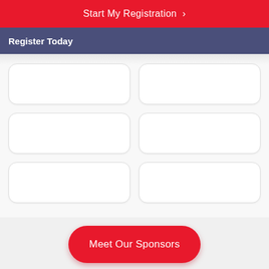Start My Registration >
Register Today
[Figure (other): Grid of 6 empty white rounded-corner cards arranged in 3 rows and 2 columns]
Meet Our Sponsors